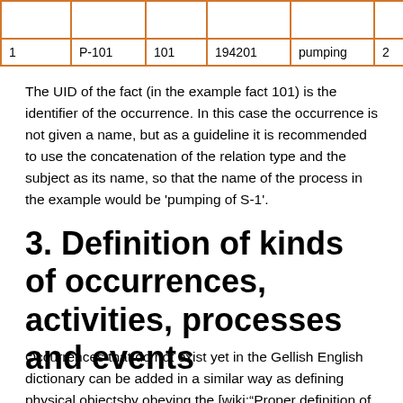|  |  |  |  |  |  | ob |
| --- | --- | --- | --- | --- | --- | --- |
| 1 | P-101 | 101 | 194201 | pumping | 2 | S- |
The UID of the fact (in the example fact 101) is the identifier of the occurrence. In this case the occurrence is not given a name, but as a guideline it is recommended to use the concatenation of the relation type and the subject as its name, so that the name of the process in the example would be 'pumping of S-1'.
3. Definition of kinds of occurrences, activities, processes and events
Occurrences that do not exist yet in the Gellish English dictionary can be added in a similar way as defining physical objectsby obeying the [wiki:"Proper definition of a concept" rules for proper definitions] in Gellish English. A